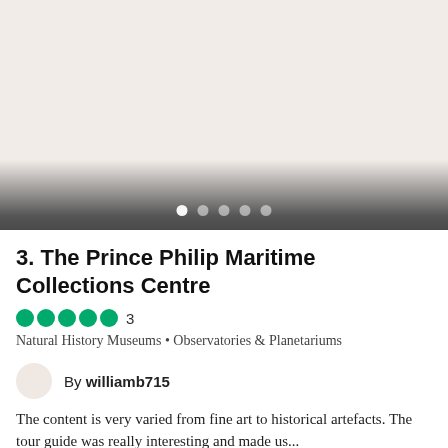[Figure (photo): Image carousel placeholder with beige/cream background and navigation dots at bottom, gradient overlay fading to dark gray]
3. The Prince Philip Maritime Collections Centre
●●●●● 3
Natural History Museums • Observatories & Planetariums
By williamb715
The content is very varied from fine art to historical artefacts. The tour guide was really interesting and made us...